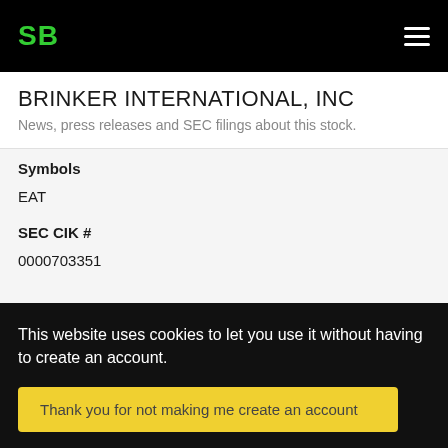SB
BRINKER INTERNATIONAL, INC
News, press releases and SEC filings about this stock.
Symbols
EAT
SEC CIK #
0000703351
undefined - undefined
This website uses cookies to let you use it without having to create an account.
Thank you for not making me create an account